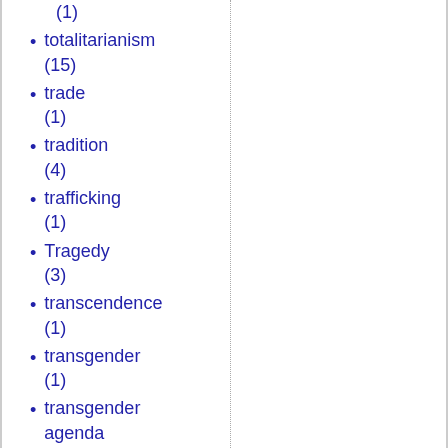(1)
totalitarianism (15)
trade (1)
tradition (4)
trafficking (1)
Tragedy (3)
transcendence (1)
transgender (1)
transgender agenda (11)
transgenderism (4)
transracial (1)
treason (1)
Treason (f…)